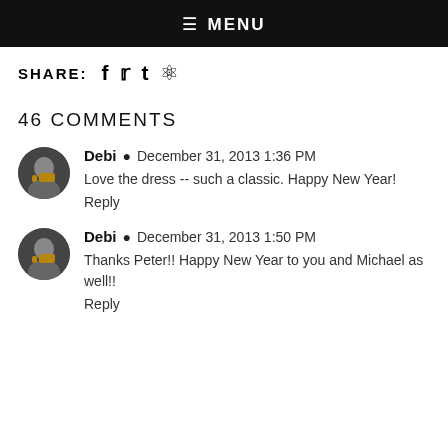≡ MENU
SHARE: f t ®
46 COMMENTS
Debi ✓ December 31, 2013 1:36 PM
Love the dress -- such a classic. Happy New Year!
Reply
Debi ✓ December 31, 2013 1:50 PM
Thanks Peter!! Happy New Year to you and Michael as well!!
Reply